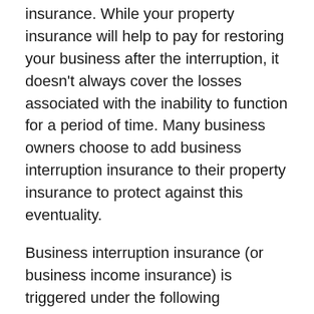insurance. While your property insurance will help to pay for restoring your business after the interruption, it doesn't always cover the losses associated with the inability to function for a period of time. Many business owners choose to add business interruption insurance to their property insurance to protect against this eventuality.
Business interruption insurance (or business income insurance) is triggered under the following circumstances:
Physical damage to the property is so extensive that operations are suspended.
Damage to the property is so severe that customers or clients are unable to gain access.
A government shutdown of the area prevents…